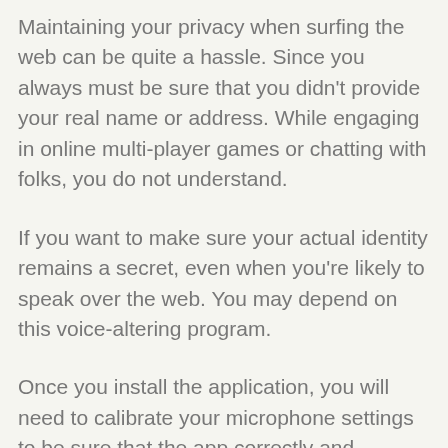Maintaining your privacy when surfing the web can be quite a hassle. Since you always must be sure that you didn't provide your real name or address. While engaging in online multi-player games or chatting with folks, you do not understand.
If you want to make sure your actual identity remains a secret, even when you're likely to speak over the web. You may depend on this voice-altering program.
Once you install the application, you will need to calibrate your microphone settings to be sure that the app correctly and correctly captures your audio. You could also create different profiles for every user on your PC.